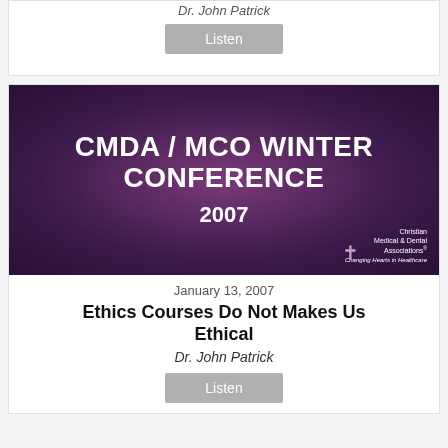Dr. John Patrick
Listen
[Figure (illustration): CMDA / MCO Winter Conference 2007 promotional banner with white bold text on a purple/dark gradient background, with Christian Medical & Dental Associations logo in the bottom right corner]
January 13, 2007
Ethics Courses Do Not Makes Us Ethical
Dr. John Patrick
Listen